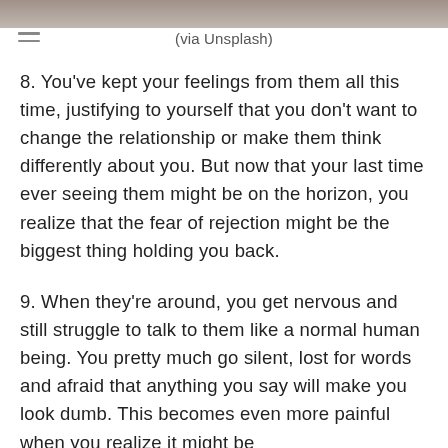[Figure (photo): Partial photo visible at very top of the page, cropped]
(via Unsplash)
8. You've kept your feelings from them all this time, justifying to yourself that you don't want to change the relationship or make them think differently about you. But now that your last time ever seeing them might be on the horizon, you realize that the fear of rejection might be the biggest thing holding you back.
9. When they're around, you get nervous and still struggle to talk to them like a normal human being. You pretty much go silent, lost for words and afraid that anything you say will make you look dumb. This becomes even more painful when you realize it might be